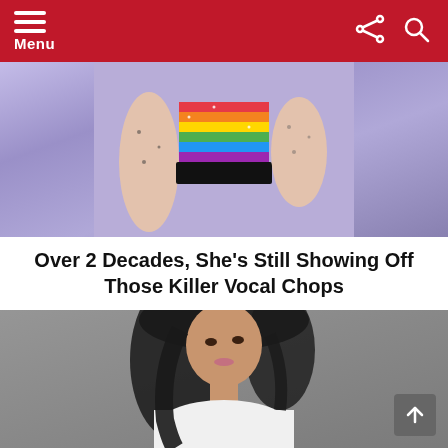Menu
[Figure (photo): A performer on stage wearing a rainbow-colored outfit with a black belt, against a purple/lavender background. The image is cropped showing the torso and arms.]
Over 2 Decades, She's Still Showing Off Those Killer Vocal Chops
[Figure (photo): A woman with long dark hair wearing a white top, posed with her back slightly turned looking over her shoulder, photographed against a grey background.]